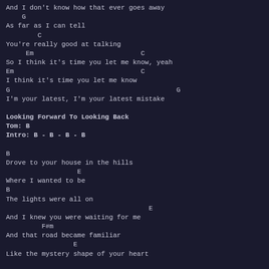And I don't know how that ever goes away
G
As far as I can tell
C
You're really good at talking
Em                           C
So I think it's time you let me know, yeah
Em                                C
I think it's time you let me know
G                                          G
I'm your latest, I'm your latest mistake
Looking Forward To Looking Back
Tom: B
Intro: B - B - B - B
B
Drove to your house in the hills
E
Where I wanted to be
B
The lights were all on
E
And I knew you were waiting for me
F#m
And that road became familiar
E
Like the mystery shape of your heart
[CHORUS]
G#m           B                    E